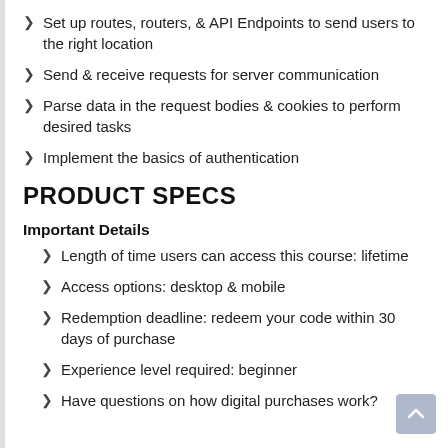Set up routes, routers, & API Endpoints to send users to the right location
Send & receive requests for server communication
Parse data in the request bodies & cookies to perform desired tasks
Implement the basics of authentication
PRODUCT SPECS
Important Details
Length of time users can access this course: lifetime
Access options: desktop & mobile
Redemption deadline: redeem your code within 30 days of purchase
Experience level required: beginner
Have questions on how digital purchases work?